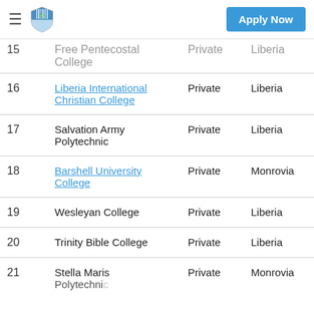≡ [shield logo] Apply Now
| # | Name | Type | Location |
| --- | --- | --- | --- |
| 15 | Free Pentecostal College | Private | Liberia |
| 16 | Liberia International Christian College | Private | Liberia |
| 17 | Salvation Army Polytechnic | Private | Liberia |
| 18 | Barshell University College | Private | Monrovia |
| 19 | Wesleyan College | Private | Liberia |
| 20 | Trinity Bible College | Private | Liberia |
| 21 | Stella Maris Polytechnic | Private | Monrovia |